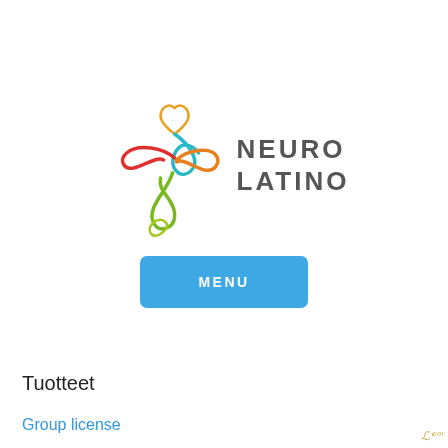[Figure (logo): Neuro Latino logo: colorful swirling figure made of orange, red, teal, green, and yellow curves forming a stylized person/plant shape, with the text NEURO LATINO in bold gray letters to the right]
[Figure (other): Blue rounded rectangle button with white bold text MENU]
Tuotteet
Group license